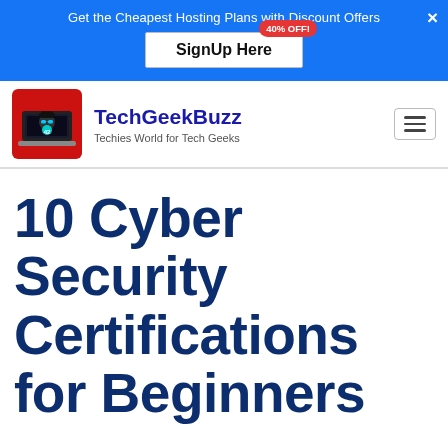Get the Cheapest Hosting Plans with Discount Offers  ×
SignUp Here  40% OFF!
[Figure (logo): TechGeekBuzz hacker mascot logo — laptop with a hacker figure wearing sunglasses on a red background]
TechGeekBuzz
Techies World for Tech Geeks
10 Cyber Security Certifications for Beginners